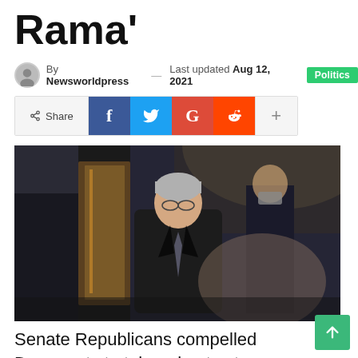Rama'
By Newsworldpress — Last updated Aug 12, 2021 Politics
[Figure (other): Social share bar with Share, Facebook, Twitter, Google+, Reddit, and More (+) buttons]
[Figure (photo): Photo of a man in a dark suit walking through a corridor, with other people in background, one wearing a mask]
Senate Republicans compelled Democrats to take robust votes on points starting from